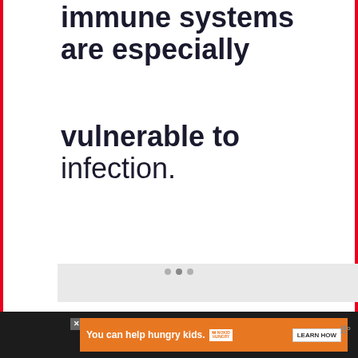immune systems are especially vulnerable to infection.
[Figure (screenshot): A gray area representing a video/slideshow player with pagination dots and floating action buttons (like heart in blue circle, share in white circle). A 'What's Next' thumbnail panel shows in lower right with an image of mashed potatoes and text 'What happens if you eat...']
[Figure (screenshot): Orange advertisement banner at bottom: 'You can help hungry kids.' with No Kid Hungry logo and LEARN HOW button. Dark background bar with Tailspin logo icon.]